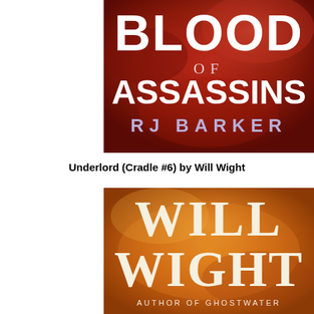[Figure (illustration): Book cover of 'Blood of Assassins' by RJ Barker — dark red/crimson background with white bold text reading BLOOD OF ASSASSINS and author name RJ BARKER in lavender/purple letters]
Underlord (Cradle #6) by Will Wight
[Figure (illustration): Book cover of a Will Wight book — orange/amber fiery background with large white serif text reading WILL WIGHT and smaller text AUTHOR OF GHOSTWATER at the bottom]